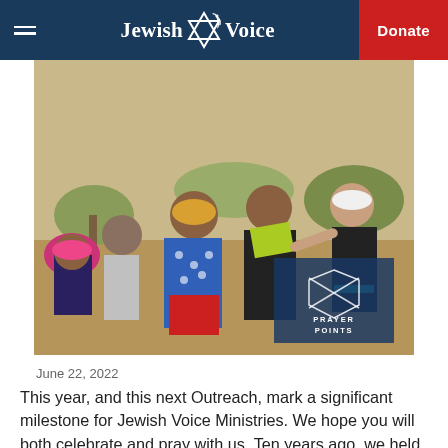Jewish Voice | Donate
[Figure (photo): Outdoor scene showing African women and a volunteer distributing or examining clothing items. A 'Prayer Points' hexagonal logo overlay appears in the lower right of the photo.]
June 22, 2022
This year, and this next Outreach, mark a significant milestone for Jewish Voice Ministries. We hope you will both celebrate and pray with us. Ten years ago, we held our first Zimbabwe Outreach, the largest outreach we had